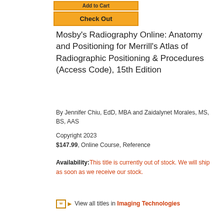[Figure (other): Orange 'Check Out' button]
Mosby's Radiography Online: Anatomy and Positioning for Merrill's Atlas of Radiographic Positioning & Procedures (Access Code), 15th Edition
By Jennifer Chiu, EdD, MBA and Zaidalynet Morales, MS, BS, AAS
Copyright 2023
$147.99, Online Course, Reference
Availability: This title is currently out of stock. We will ship as soon as we receive our stock.
View all titles in Imaging Technologies